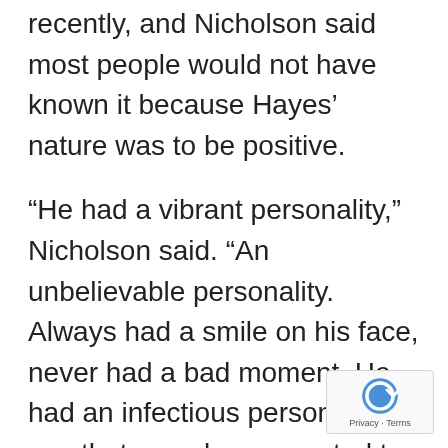recently, and Nicholson said most people would not have known it because Hayes' nature was to be positive.
“He had a vibrant personality,” Nicholson said. “An unbelievable personality. Always had a smile on his face, never had a bad moment. He had an infectious personality. A guy that you always wanted to be around.”
Nicholson said he and FSU players want to take time to “celebrate the legacy” of Hayes and reinforce to his son and daughter his dad was, how much he meant to